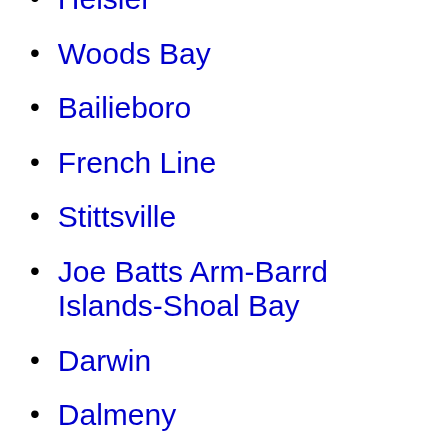Heisler
Woods Bay
Bailieboro
French Line
Stittsville
Joe Batts Arm-Barrd Islands-Shoal Bay
Darwin
Dalmeny
Port au Port West-Aguathuna-Felix Cove
Val Therese